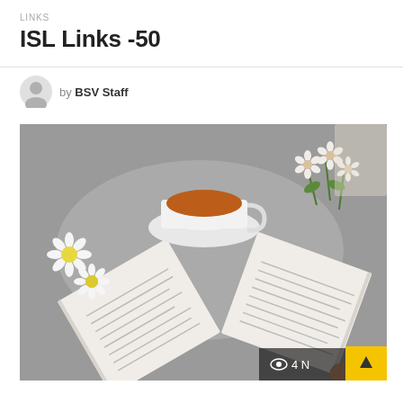LINKS
ISL Links -50
by BSV Staff
[Figure (photo): Top-down flatlay photo of two open books, a white teacup with tea on a saucer, white daisies, and white flowers with green leaves, all arranged on a grey fabric surface. A hand is visible holding one of the books at the bottom right.]
4 N